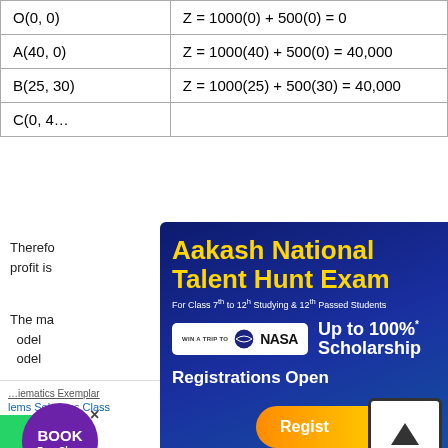| Point | Z value |
| --- | --- |
| O(0, 0) | Z = 1000(0) + 500(0) = 0 |
| A(40, 0) | Z = 1000(40) + 500(0) = 40,000 |
| B(25, 30) | Z = 1000(25) + 500(30) = 40,000 |
| C(0, 4...) | Z = ... |
Therefore, the maximum profit is ...
The maximum value ... likes of model ... es of model ...
[Figure (advertisement): Aakash National Talent Hunt Exam advertisement. Up to 100% Scholarship. Win a trip to NASA. ANTHE 2022. Registrations Open. For Class 7th to 12th Studying & 12th Passed Students.]
[Figure (screenshot): Bottom navigation links: Mathematics Exemplar Problems Solutions Class, NCERT Maths Exemplar Problems Solutions Class 9, Exemplar Problems Class, NCERT Exemplar Class]
[Figure (screenshot): Chat bubble: Hi there! Got any questions? I can help you... Register button. Book Free Class button. Social sidebar with WhatsApp, Share, Phone icons.]